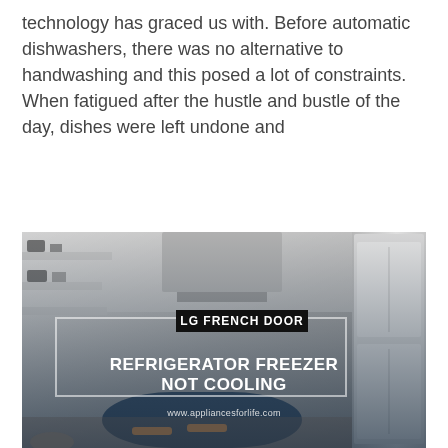technology has graced us with. Before automatic dishwashers, there was no alternative to handwashing and this posed a lot of constraints. When fatigued after the hustle and bustle of the day, dishes were left undone and
Read More »
[Figure (photo): Kitchen interior in grayscale/dark tones with a large refrigerator visible on the right. Text overlay reads 'LG FRENCH DOOR' in a black badge and 'REFRIGERATOR FREEZER NOT COOLING' in large white bold text within a white-bordered rectangle. Website URL 'www.appliancesforlife.com' appears at the bottom.]